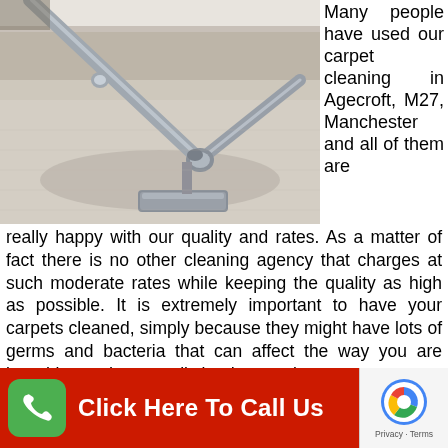[Figure (photo): A carpet cleaning machine wand/head with metal tubes being used on a light grey/beige carpet. The equipment shows a T-bar style cleaning head with a flexible hose connection.]
Many people have used our carpet cleaning in Agecroft, M27, Manchester and all of them are really happy with our quality and rates. As a matter of fact there is no other cleaning agency that charges at such moderate rates while keeping the quality as high as possible. It is extremely important to have your carpets cleaned, simply because they might have lots of germs and bacteria that can affect the way you are breathing and eventually lead to respiratory
[Figure (infographic): Red banner with green phone icon and white text reading 'Click Here To Call Us'. A reCAPTCHA logo and 'Privacy - Terms' text appear on the right side.]